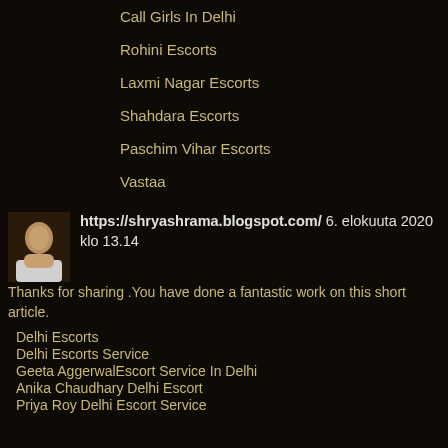Call Girls In Delhi
Rohini Escorts
Laxmi Nagar Escorts
Shahdara Escorts
Paschim Vihar Escorts
Vastaa
[Figure (photo): Small avatar photo of a person]
https://shryashrama.blogspot.com/ 6. elokuuta 2020 klo 13.14
Thanks for sharing .You have done a fantastic work on this short article.
Delhi Escorts
Delhi Escorts Service
Geeta AggerwalEscort Service In Delhi
Anika Chaudhary Delhi Escort
Priya Roy Delhi Escort Service